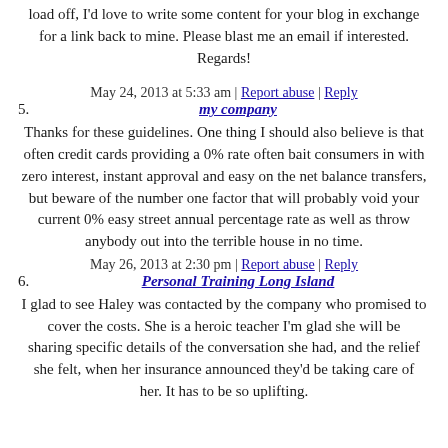load off, I'd love to write some content for your blog in exchange for a link back to mine. Please blast me an email if interested. Regards!
May 24, 2013 at 5:33 am | Report abuse | Reply
5. my company
Thanks for these guidelines. One thing I should also believe is that often credit cards providing a 0% rate often bait consumers in with zero interest, instant approval and easy on the net balance transfers, but beware of the number one factor that will probably void your current 0% easy street annual percentage rate as well as throw anybody out into the terrible house in no time.
May 26, 2013 at 2:30 pm | Report abuse | Reply
6. Personal Training Long Island
I glad to see Haley was contacted by the company who promised to cover the costs. She is a heroic teacher I'm glad she will be sharing specific details of the conversation she had, and the relief she felt, when her insurance announced they'd be taking care of her. It has to be so uplifting.